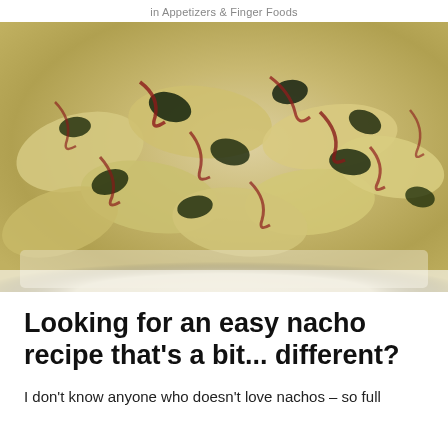in Appetizers & Finger Foods
[Figure (photo): Close-up photograph of nachos topped with dark sautéed kale/greens and caramelized red onion strands, spread on a wooden or parchment-lined tray, viewed from a low angle]
Looking for an easy nacho recipe that's a bit... different?
I don't know anyone who doesn't love nachos – so full